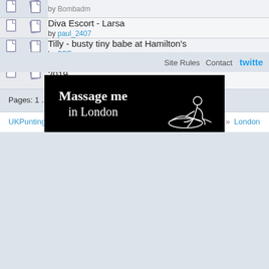| [icon][icon] | Diva Escort - Larsa
by paul_2407 |
| [icon][icon] | Tilly - busty tiny babe at Hamilton's
by BPF |
| [icon][icon] | "bring back Ilford prostitutes" News from 11th October 2019.
by puntingking |
Pages: 1 ... 57 [58] 59 ... 412
UKPunting » Discussions & Reviews » Regional Discussion » London
Site Rules  Contact  twitte
[Figure (illustration): Black banner advertisement reading 'Massage me in London' with a line drawing of a person giving a massage]